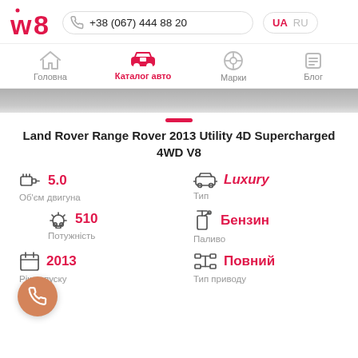w8 | +38 (067) 444 88 20 | UA RU
[Figure (screenshot): Navigation bar with icons: Головна (home), Каталог авто (car, active/red), Марки (VW logo), Блог (menu icon)]
[Figure (photo): Partial car image strip in grayscale]
Land Rover Range Rover 2013 Utility 4D Supercharged 4WD V8
5.0 — Об'єм двигуна
Luxury — Тип
510 — Потужність
Бензин — Паливо
2013 — Рік випуску
Повний — Тип приводу